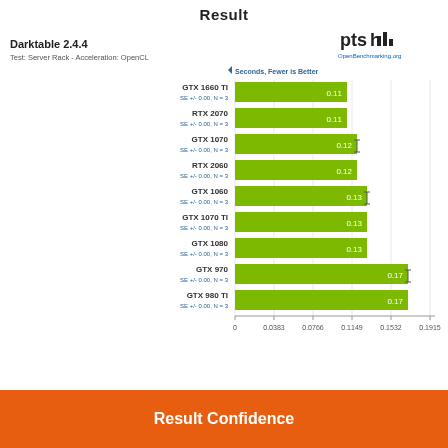Result
[Figure (bar-chart): Darktable 2.4.4 - Test: Server Rack - Acceleration: OpenCL]
Result Confidence